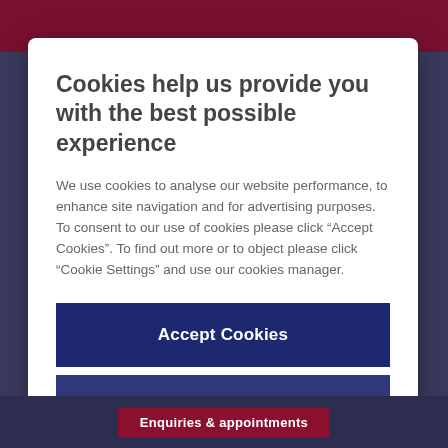Cookies help us provide you with the best possible experience
We use cookies to analyse our website performance, to enhance site navigation and for advertising purposes. To consent to our use of cookies please click “Accept Cookies”. To find out more or to object please click “Cookie Settings” and use our cookies manager.
Accept Cookies
Cookie Settings
Enquiries & appointments